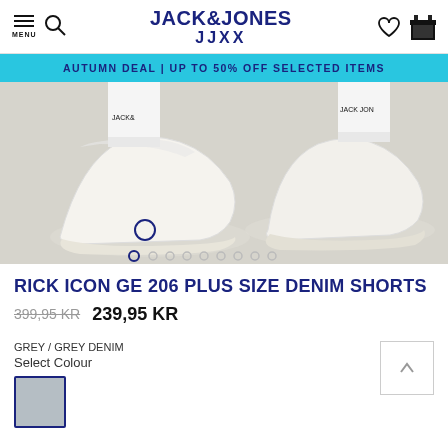JACK&JONES JJXX
AUTUMN DEAL | UP TO 50% OFF SELECTED ITEMS
[Figure (photo): Product photo showing two white low-top sneakers worn with white socks, shot from the shin down on a light grey background. Carousel dots visible at bottom.]
RICK ICON GE 206 PLUS SIZE DENIM SHORTS
399,95 KR   239,95 KR
GREY / GREY DENIM
Select Colour